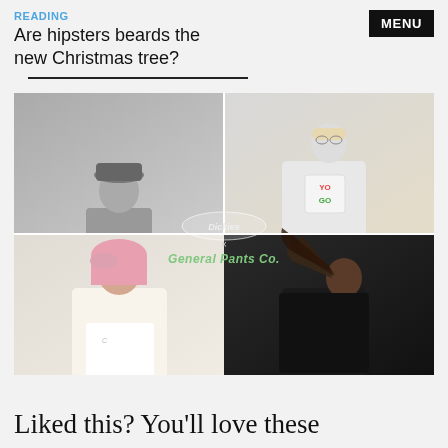READING
Are hipsters beards the new Christmas tree?
[Figure (photo): Fashion editorial grid showing four models: top-left black and white photo of male model in Dickies t-shirt and bucket hat; top-right male model in white graphic tee sitting; bottom-left female model with pink hair in white outfit; bottom-right model with dreadlocks in dark clothing. Center overlays show Dickies x General Pants Co. branding logos.]
Liked this? You'll love these